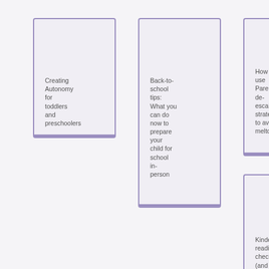[Figure (illustration): Card with purple border containing text 'Creating Autonomy for toddlers and preschoolers']
[Figure (illustration): Card with purple border containing text 'Back-to-school tips: What you can do now to prepare your child for school in-person']
[Figure (illustration): Card with purple border containing text 'How to use Parenting de-escalation strategies to avoid meltdowns']
[Figure (illustration): Card with purple border containing text 'Kindergarten readiness checklist (and how to master it!)']